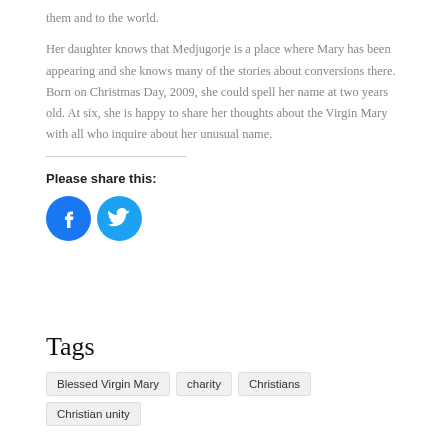them and to the world.
Her daughter knows that Medjugorje is a place where Mary has been appearing and she knows many of the stories about conversions there. Born on Christmas Day, 2009, she could spell her name at two years old. At six, she is happy to share her thoughts about the Virgin Mary with all who inquire about her unusual name.
Please share this:
[Figure (illustration): Two circular social media icon buttons: a blue Facebook icon and a lighter blue Twitter bird icon]
Tags
Blessed Virgin Mary
charity
Christians
Christian unity